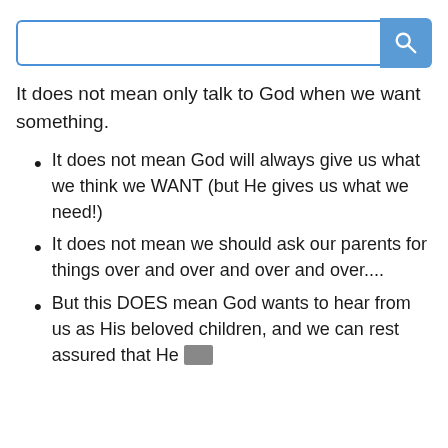[Figure (screenshot): Search bar with blue border and blue search button with magnifying glass icon]
It does not mean only talk to God when we want something.
It does not mean God will always give us what we think we WANT (but He gives us what we need!)
It does not mean we should ask our parents for things over and over and over and over....
But this DOES mean God wants to hear from us as His beloved children, and we can rest assured that He will